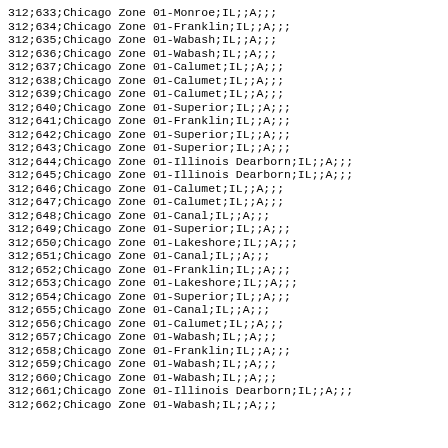312;633;Chicago Zone 01-Monroe;IL;;A;;;
312;634;Chicago Zone 01-Franklin;IL;;A;;;
312;635;Chicago Zone 01-Wabash;IL;;A;;;
312;636;Chicago Zone 01-Wabash;IL;;A;;;
312;637;Chicago Zone 01-Calumet;IL;;A;;;
312;638;Chicago Zone 01-Calumet;IL;;A;;;
312;639;Chicago Zone 01-Calumet;IL;;A;;;
312;640;Chicago Zone 01-Superior;IL;;A;;;
312;641;Chicago Zone 01-Franklin;IL;;A;;;
312;642;Chicago Zone 01-Superior;IL;;A;;;
312;643;Chicago Zone 01-Superior;IL;;A;;;
312;644;Chicago Zone 01-Illinois Dearborn;IL;;A;;;
312;645;Chicago Zone 01-Illinois Dearborn;IL;;A;;;
312;646;Chicago Zone 01-Calumet;IL;;A;;;
312;647;Chicago Zone 01-Calumet;IL;;A;;;
312;648;Chicago Zone 01-Canal;IL;;A;;;
312;649;Chicago Zone 01-Superior;IL;;A;;;
312;650;Chicago Zone 01-Lakeshore;IL;;A;;;
312;651;Chicago Zone 01-Canal;IL;;A;;;
312;652;Chicago Zone 01-Franklin;IL;;A;;;
312;653;Chicago Zone 01-Lakeshore;IL;;A;;;
312;654;Chicago Zone 01-Superior;IL;;A;;;
312;655;Chicago Zone 01-Canal;IL;;A;;;
312;656;Chicago Zone 01-Calumet;IL;;A;;;
312;657;Chicago Zone 01-Wabash;IL;;A;;;
312;658;Chicago Zone 01-Franklin;IL;;A;;;
312;659;Chicago Zone 01-Wabash;IL;;A;;;
312;660;Chicago Zone 01-Wabash;IL;;A;;;
312;661;Chicago Zone 01-Illinois Dearborn;IL;;A;;;
312;662;Chicago Zone 01-Wabash;IL;;A;;;